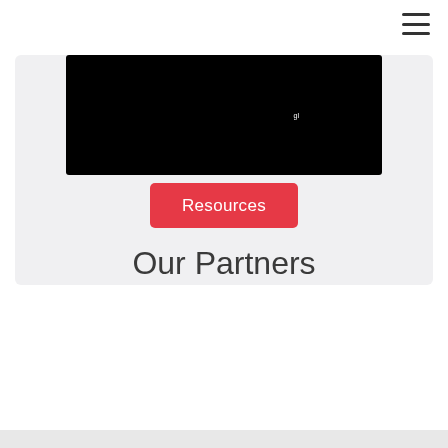[Figure (screenshot): Hamburger/navigation menu icon (three horizontal lines) in top-right corner]
[Figure (screenshot): Light gray card container with black video/media block inside, partially visible at top of page]
[Figure (screenshot): Red 'Resources' button centered within the card area]
Our Partners
[Figure (screenshot): Light gray horizontal strip at the very bottom of the page]